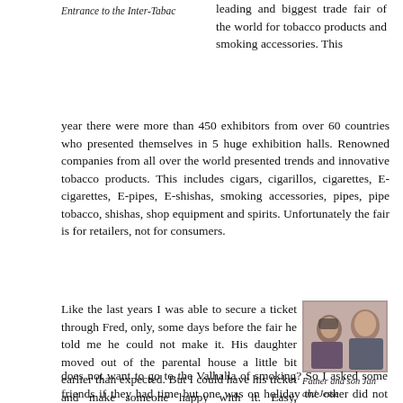Entrance to the Inter-Tabac
leading and biggest trade fair of the world for tobacco products and smoking accessories. This year there were more than 450 exhibitors from over 60 countries who presented themselves in 5 huge exhibition halls. Renowned companies from all over the world presented trends and innovative tobacco products. This includes cigars, cigarillos, cigarettes, E-cigarettes, E-pipes, E-shishas, smoking accessories, pipes, pipe tobacco, shishas, shop equipment and spirits. Unfortunately the fair is for retailers, not for consumers.
Like the last years I was able to secure a ticket through Fred, only, some days before the fair he told me he could not make it. His daughter moved out of the parental house a little bit earlier than expected. But I could have his ticket and make someone happy with it. Easy, I thought, what pipe-smoker does not want to go to the Valhalla of smoking? So I asked some friends if they had time but one was on holiday the other did not have a car, someone else had some “things” to do with his students. I
[Figure (photo): Two men, a father and son named Jan and Jesse, sitting together, one holding a camera]
Father and son Jan and Jesse